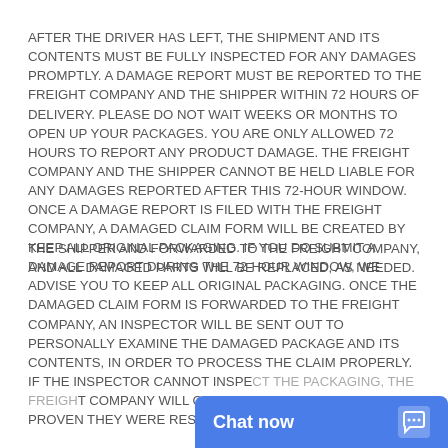AFTER THE DRIVER HAS LEFT, THE SHIPMENT AND ITS CONTENTS MUST BE FULLY INSPECTED FOR ANY DAMAGES PROMPTLY. A DAMAGE REPORT MUST BE REPORTED TO THE FREIGHT COMPANY AND THE SHIPPER WITHIN 72 HOURS OF DELIVERY. PLEASE DO NOT WAIT WEEKS OR MONTHS TO OPEN UP YOUR PACKAGES. YOU ARE ONLY ALLOWED 72 HOURS TO REPORT ANY PRODUCT DAMAGE. THE FREIGHT COMPANY AND THE SHIPPER CANNOT BE HELD LIABLE FOR ANY DAMAGES REPORTED AFTER THIS 72-HOUR WINDOW. ONCE A DAMAGE REPORT IS FILED WITH THE FREIGHT COMPANY, A DAMAGED CLAIM FORM WILL BE CREATED BY THE SHIPPER AND FORWARDED TO THE FREIGHT COMPANY, AND ALL DAMAGED PARTS WILL BE REPLACED, AS NEEDED.
KEEP ALL ORIGINAL PACKAGING. IF YOU DO SUBMIT A DAMAGE REPORT DURING THE 72-HOUR WINDOW, WE ADVISE YOU TO KEEP ALL ORIGINAL PACKAGING. ONCE THE DAMAGED CLAIM FORM IS FORWARDED TO THE FREIGHT COMPANY, AN INSPECTOR WILL BE SENT OUT TO PERSONALLY EXAMINE THE DAMAGED PACKAGE AND ITS CONTENTS, IN ORDER TO PROCESS THE CLAIM PROPERLY. IF THE INSPECTOR CANNOT INSPECT THE PACKAGING, THE FREIGHT COMPANY WILL CLAIM THEY... PROVEN THEY WERE RESPO...